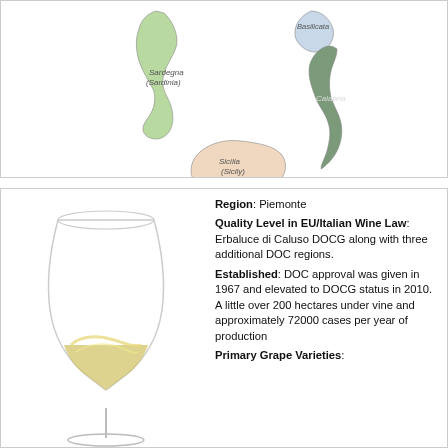[Figure (map): Map of southern Italy showing regions: Sardegna (Sardinia), Basilicata, Calabria, Sicilia (Sicily), rendered in pastel colors]
[Figure (photo): Photo of a large wine glass with white/yellow wine being swirled inside]
Region: Piemonte
Quality Level in EU/Italian Wine Law: Erbaluce di Caluso DOCG along with three additional DOC regions.
Established: DOC approval was given in 1967 and elevated to DOCG status in 2010. A little over 200 hectares under vine and approximately 72000 cases per year of production
Primary Grape Varieties: